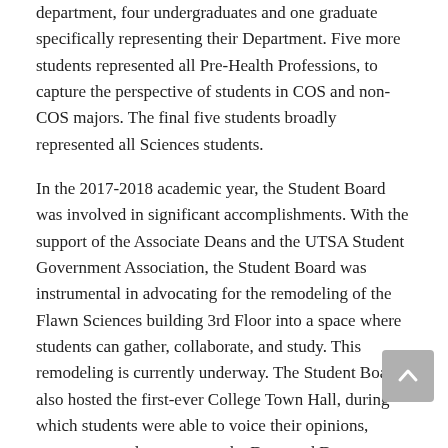department, four undergraduates and one graduate specifically representing their Department. Five more students represented all Pre-Health Professions, to capture the perspective of students in COS and non-COS majors. The final five students broadly represented all Sciences students.
In the 2017-2018 academic year, the Student Board was involved in significant accomplishments. With the support of the Associate Deans and the UTSA Student Government Association, the Student Board was instrumental in advocating for the remodeling of the Flawn Sciences building 3rd Floor into a space where students can gather, collaborate, and study. This remodeling is currently underway. The Student Board also hosted the first-ever College Town Hall, during which students were able to voice their opinions, comments, and concerns to the Dean and Department Chairs.
Moving forward, the Dean's Student Board will continue to